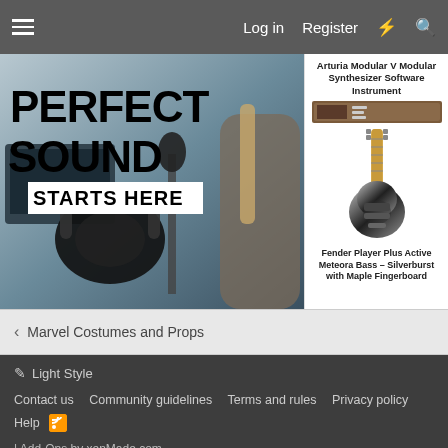Log in  Register
[Figure (illustration): Banner image: PERFECT SOUND STARTS HERE with headphones and guitar player in background]
[Figure (illustration): Product image: Arturia Modular V Modular Synthesizer Software Instrument]
[Figure (illustration): Product image: Fender Player Plus Active Meteora Bass - Silverburst with Maple Fingerboard]
< Marvel Costumes and Props
✏ Light Style
Contact us  Community guidelines  Terms and rules  Privacy policy  Help  [RSS]
| Add-Ons by xenMade.com
Would you like to support our community? Sign up for an